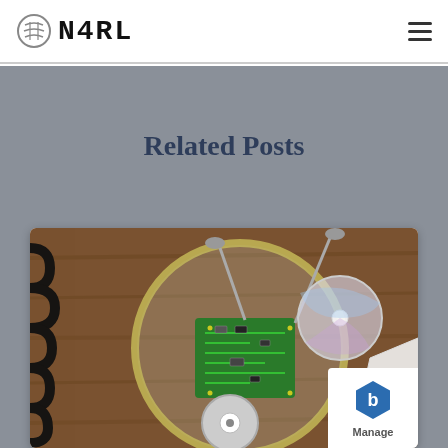N4RL
Related Posts
[Figure (photo): Overhead view of electronic PCB circuit board being worked on under a magnifying glass on a wooden surface, with coiled cable to the left and metallic components visible]